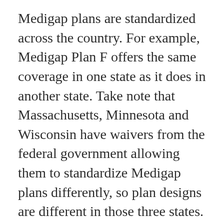Medigap plans are standardized across the country. For example, Medigap Plan F offers the same coverage in one state as it does in another state. Take note that Massachusetts, Minnesota and Wisconsin have waivers from the federal government allowing them to standardize Medigap plans differently, so plan designs are different in those three states.
You should be aware that Medigap costs vary by location, so your monthly Medigap policy premium may be higher or lower depending on the cost of medical care in your new area. Call your plan provider and tell them your new ZIP code and they will let you know the new cost.